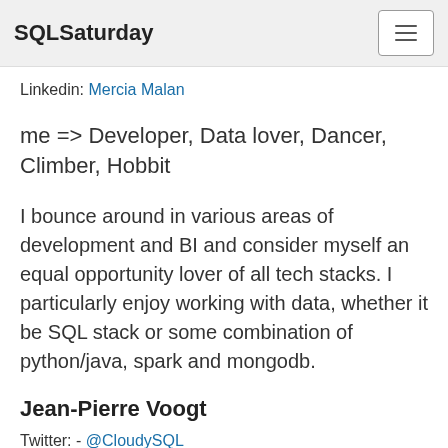SQLSaturday
Linkedin: Mercia Malan
me => Developer, Data lover, Dancer, Climber, Hobbit
I bounce around in various areas of development and BI and consider myself an equal opportunity lover of all tech stacks. I particularly enjoy working with data, whether it be SQL stack or some combination of python/java, spark and mongodb.
Jean-Pierre Voogt
Twitter: - @CloudySQL